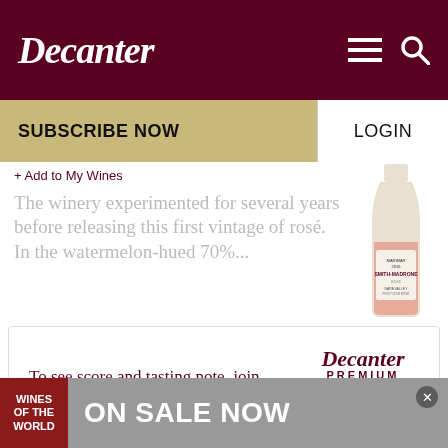Decanter
SUBSCRIBE NOW
LOGIN
+ Add to My Wines
The winery experimented for several years before releasing this first vintage of rosé. In the watermelon-hued 70%...
To see score and tasting note, join Decanter Premium now.
Decanter PREMIUM
JOIN NOW
WINES OF THE WORLD   ON SALE NOW